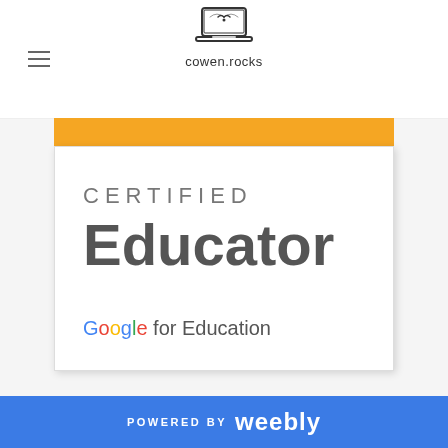cowen.rocks
[Figure (logo): Google Certified Educator badge with gold top bar, text reading CERTIFIED Educator, and Google for Education branding at bottom]
POWERED BY weebly